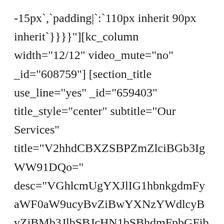-15px`,`padding|`:`110px inherit 90px inherit`}}}}"][kc_column width="12/12" video_mute="no" _id="608759"] [section_title use_line="yes" _id="659403" title_style="center" subtitle="Our Services" title="V2hhdCBXZSBPZmZlciBGb3IgWW91DQo=" desc="VGhlcmUgYXJlIG1hbnkgdmFyaWF0aW9ucyBvZiBwYXNzYWdlcyBvZiBMb3JlbSBJcHN1bSBhdmFpbGFibGUgYnV0IHRoZSBtYWpvcml0eSBoYXZlIHN1ZmZlcmVkIGFsdGVyYXRpb24gaW4gc29tZSBmb3JtIGJ5IGluamVjdGVkIGh1bW91ciBvciBhbHRlcmVkIHdvcmRzIHdoaWNoIGRvbid0IGxvb2sgZXZlbiBzbGlnaHRseSBiZWxpZXZhYmxlLiBJZiB5b3UgYXJlIGdvaW5nIHRvIHVzZSBhIHBhc3NhZ2Ugb2YgTG9yZW0gSXBzdW0sIHlvdSBuZWVkIHRvIGJlIHN1cmUgdGhlcmUgaXNuJ3QgYW55dGhpbmcgZW1iYXJyYXNzaW5nIGhpZGRlbiBpbiB0aGUgbWlkZGxlIG9mIHRleHQu"